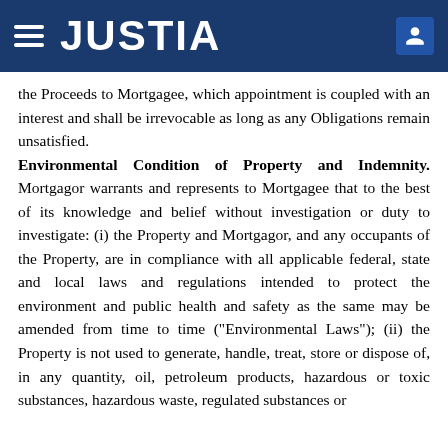JUSTIA
the Proceeds to Mortgagee, which appointment is coupled with an interest and shall be irrevocable as long as any Obligations remain unsatisfied.
Environmental Condition of Property and Indemnity. Mortgagor warrants and represents to Mortgagee that to the best of its knowledge and belief without investigation or duty to investigate: (i) the Property and Mortgagor, and any occupants of the Property, are in compliance with all applicable federal, state and local laws and regulations intended to protect the environment and public health and safety as the same may be amended from time to time (“Environmental Laws”); (ii) the Property is not used to generate, handle, treat, store or dispose of, in any quantity, oil, petroleum products, hazardous or toxic substances, hazardous waste, regulated substances or